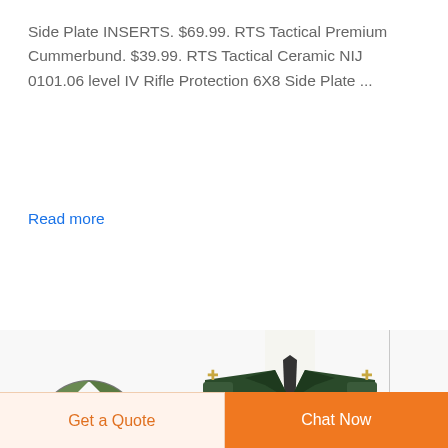Side Plate INSERTS. $69.99. RTS Tactical Premium Cummerbund. $39.99. RTS Tactical Ceramic NIJ 0101.06 level IV Rifle Protection 6X8 Side Plate ...
Read more
[Figure (photo): Deekon brand logo (circular camo design with letter D in center and red DEEKON text below) alongside a headless mannequin wearing a dark green military dress uniform with medals, badges, rank insignia, tie, and cross-body strap]
Get a Quote
Chat Now